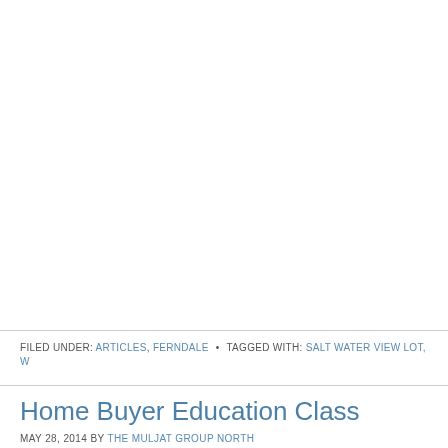FILED UNDER: ARTICLES, FERNDALE • TAGGED WITH: SALT WATER VIEW LOT, W...
Home Buyer Education Class
MAY 28, 2014 BY THE MULJAT GROUP NORTH
Attend our FREE Home Buyer Education Class and receive your certificate fi...